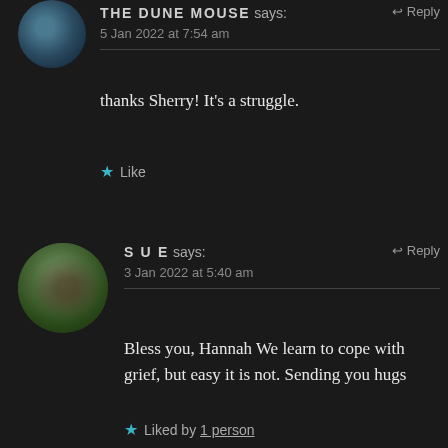[Figure (photo): Round avatar photo with dark blue/teal tones, partially visible at top]
THE DUNE MOUSE says: Reply
5 Jan 2022 at 7:54 am
thanks Sherry! It's a struggle.
★ Like
[Figure (photo): Round avatar photo of a person holding a camera, outdoors with green foliage background]
SUE says: Reply
3 Jan 2022 at 5:40 am
Bless you, Hannah We learn to cope with grief, but easy it is not. Sending you hugs
★ Liked by 1 person